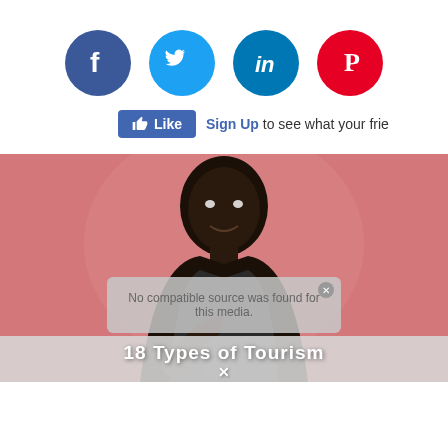[Figure (infographic): Four social media icons in circles: Facebook (dark blue), Twitter (light blue), LinkedIn (dark teal blue), Pinterest (red)]
Like  Sign Up to see what your frie
[Figure (photo): A man with a surprised/thinking expression looking at a phone, against a pink background. A video overlay reads 'No compatible source was found for this media.' with a close button. A bottom banner reads '18 Types of Tourism' with an X.]